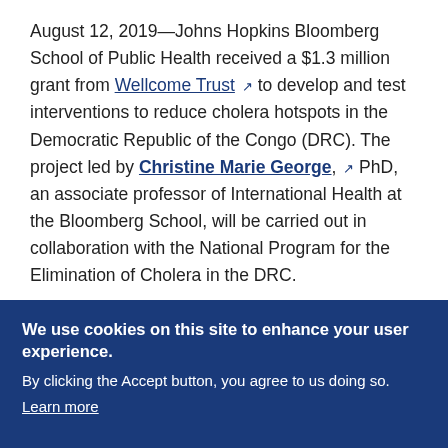August 12, 2019—Johns Hopkins Bloomberg School of Public Health received a $1.3 million grant from Wellcome Trust [ext] to develop and test interventions to reduce cholera hotspots in the Democratic Republic of the Congo (DRC). The project led by Christine Marie George, [ext] PhD, an associate professor of International Health at the Bloomberg School, will be carried out in collaboration with the National Program for the Elimination of Cholera in the DRC.
We use cookies on this site to enhance your user experience. By clicking the Accept button, you agree to us doing so. Learn more